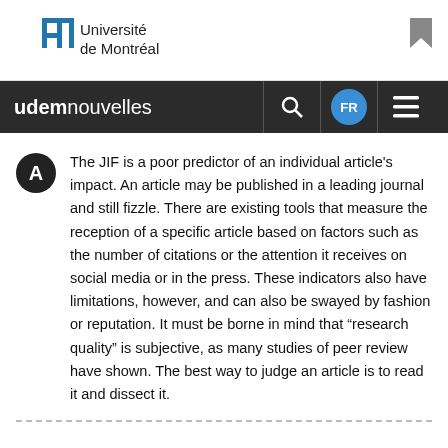[Figure (logo): Université de Montréal logo with stylized 'M' icon in blue and text 'Université de Montréal']
udemnouvelles
The JIF is a poor predictor of an individual article's impact. An article may be published in a leading journal and still fizzle. There are existing tools that measure the reception of a specific article based on factors such as the number of citations or the attention it receives on social media or in the press. These indicators also have limitations, however, and can also be swayed by fashion or reputation. It must be borne in mind that “research quality” is subjective, as many studies of peer review have shown. The best way to judge an article is to read it and dissect it.